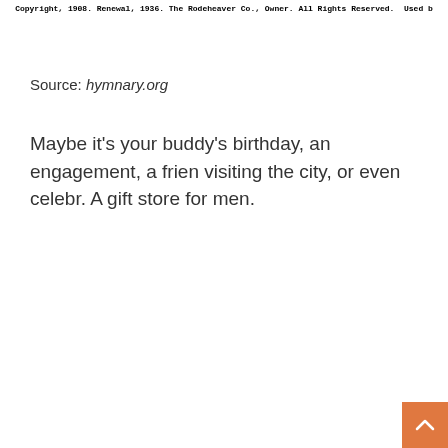Copyright, 1908. Renewal, 1936. The Rodeheaver Co., Owner. All Rights Reserved. Used b
Source: hymnary.org
Maybe it's your buddy's birthday, an engagement, a frien visiting the city, or even celebr. A gift store for men.